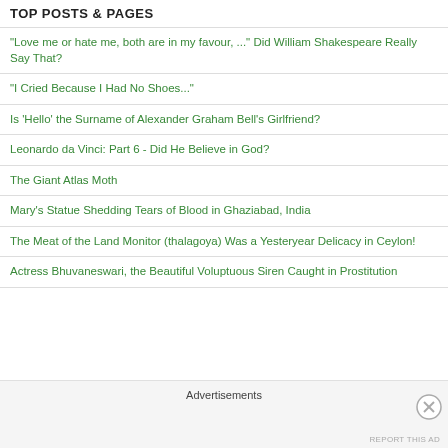TOP POSTS & PAGES
"Love me or hate me, both are in my favour, ..." Did William Shakespeare Really Say That?
"I Cried Because I Had No Shoes..."
Is 'Hello' the Surname of Alexander Graham Bell's Girlfriend?
Leonardo da Vinci: Part 6 - Did He Believe in God?
The Giant Atlas Moth
Mary's Statue Shedding Tears of Blood in Ghaziabad, India
The Meat of the Land Monitor (thalagoya) Was a Yesteryear Delicacy in Ceylon!
Actress Bhuvaneswari, the Beautiful Voluptuous Siren Caught in Prostitution
Advertisements